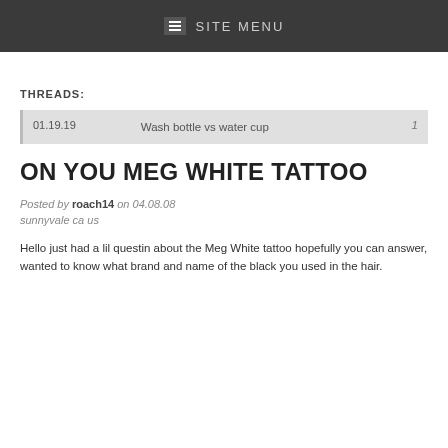☰ SITE MENU
THREADS:
| Date | Title | Count |
| --- | --- | --- |
| 01.19.19 | Wash bottle vs water cup | 1 |
ON YOU MEG WHITE TATTOO
Posted by roach14 on 04.08.08 sunnyvale ca us
Hello just had a lil questin about the Meg White tattoo hopefully you can answer, wanted to know what brand and name of the black you used in the hair.